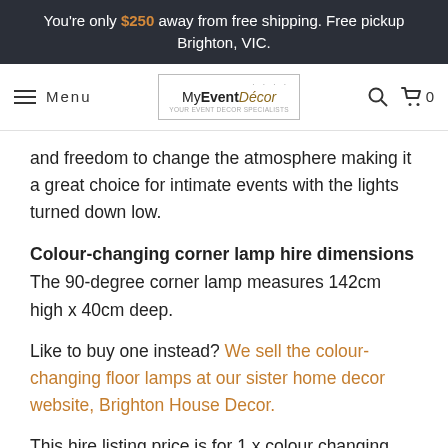You're only $250 away from free shipping. Free pickup Brighton, VIC.
[Figure (screenshot): Navigation bar with hamburger menu, Menu text, MyEventDecor logo, search icon, and cart icon showing 0]
and freedom to change the atmosphere making it a great choice for intimate events with the lights turned down low.
Colour-changing corner lamp hire dimensions
The 90-degree corner lamp measures 142cm high x 40cm deep.
Like to buy one instead? We sell the colour-changing floor lamps at our sister home decor website, Brighton House Decor.
This hire listing price is for 1 x colour changing lamp for three days hire.